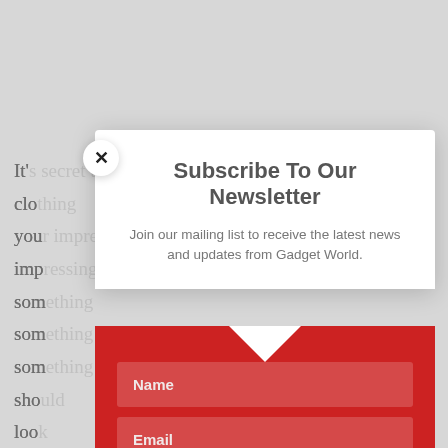It's secret that wristwatches make for great clothing you impressing some something or something you should look easy going wristwatches all go obviously with, the
[Figure (screenshot): Newsletter subscription modal popup overlay on a webpage. White top section with bold title 'Subscribe To Our Newsletter' and subtitle 'Join our mailing list to receive the latest news and updates from Gadget World.' Red bottom section with Name field, Email field, and SUBSCRIBE! button. Close X button at top-left of modal.]